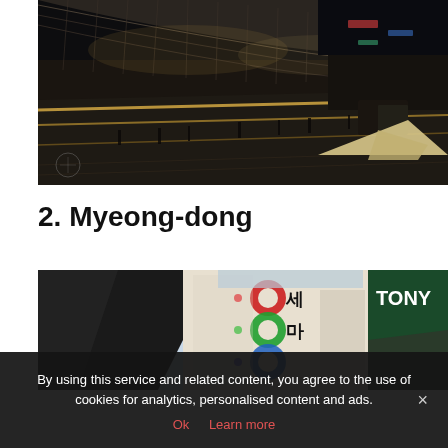[Figure (photo): Night photo of Dongdaemun Design Plaza or similar futuristic metallic curved building in Seoul, with illuminated walkway and people walking]
2. Myeong-dong
[Figure (photo): Daytime street scene in Myeong-dong shopping district, Seoul, with Korean and brand signage including TONY MOLY store]
By using this service and related content, you agree to the use of cookies for analytics, personalised content and ads.
Ok   Learn more